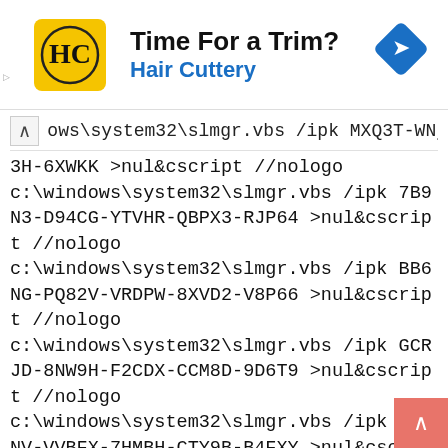[Figure (screenshot): Advertisement banner for Hair Cuttery with logo, 'Time For a Trim?' text, and a navigation arrow icon]
...ows\system32\slmgr.vbs /ipk MXQ3T-WNjj1-01XT1
3H-6XWKK >nul&cscript //nologo
c:\windows\system32\slmgr.vbs /ipk 7B9N3-D94CG-YTVHR-QBPX3-RJP64 >nul&cscript //nologo
c:\windows\system32\slmgr.vbs /ipk BB6NG-PQ82V-VRDPW-8XVD2-V8P66 >nul&cscript //nologo
c:\windows\system32\slmgr.vbs /ipk GCRJD-8NW9H-F2CDX-CCM8D-9D6T9 >nul&cscript //nologo
c:\windows\system32\slmgr.vbs /ipk HMCNV-VVBFX-7HMBH-CTY9B-B4FXY >nul&cscript //nologo
c:\windows\system32\slmgr.vbs /ipk 789NJ-TQK6T-6XTH8-J39CJ-J8D3P >nul&cscript //nologo
c:\windows\system32\slmgr.vbs /ipk [CLOSE] TX9XD-98N7V-6WMQ6-BX7FG-H8Q99 >nul&cscript //nologo
c:\windows\system32\slmgr.vbs /ipk 3KHY7-WNT83-DGQKR-F7HPR-844BM >nul&cscript //nologo
c:\windows\system32\slmgr.vbs /ipk 7HNRX-D7KGG-3K4RQ-...